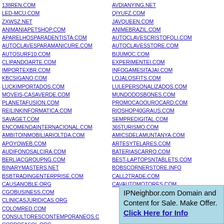Left column domain list: 138REN.COM, LED-MCU.COM, ZXWSZ.NET, ANIMANIAPETSHOP.COM, APARELHOSPARADENTISTA.COM, AUTOCLAVESPARAMANICURE.COM, AUTOSURF10.COM, CLIPANDOARTE.COM, IMPORTEXBR.COM, KBCSIGANO.COM, LUCKIMPORTADOS.COM, MOVEIS-CASAVERDE.COM, PLANETAFUSION.COM, REILINKINFORMATICA.COM, SAVAGET.COM, ENCOMENDAINTERNACIONAL.COM, AMBITOINMOBILIARIOLTDA.COM, APOYOWEB.COM, AUDIFONOSALCIRA.COM, BERLIACGROUPNG.COM, BINARYMASTERS.NET, BSBTRADINGENTERPRISE.COM, CAUSANOBLE.ORG, CGOBUSINESS.COM, CLINICASJURIDICAS.ORG, COLOMRED.COM, CONSULTORESCONTEMPORANEOS.C..., CORPOFASOL.ORG
Right column domain list: AVDIANYING.NET, QIYUFZ.COM, JAVQUEEN.COM, ANIMEBRAZIL.COM, AUTOCLAVESCRISTOFOLI.COM, AUTOCLAVESSTORE.COM, BIJUMOC.COM, EXPERIMENTEI.COM, INFOGAMESITAJAI.COM, LOJALOSFITS.COM, LULEPERSONALIZADOS.COM, MUNDODOSBONES.COM, PROMOCAOOUROCARD.COM, RIOSHOP40GRAUS.COM, SEMPREDIGITAL.COM, 365TURISMO.COM, AMICSDELAMUNTANYA.COM, ARTESYTELARES.COM, BATERIASCARRO.COM, BEST-LAPTOPSNTABLETS.COM, BOBSCORNERSTORE.INFO, CALL2TRADE.COM, CAVAUTOMOTORES.COM
IPNeighbor.com Domain and Content for Sale. Make Offer. Click Here for Info